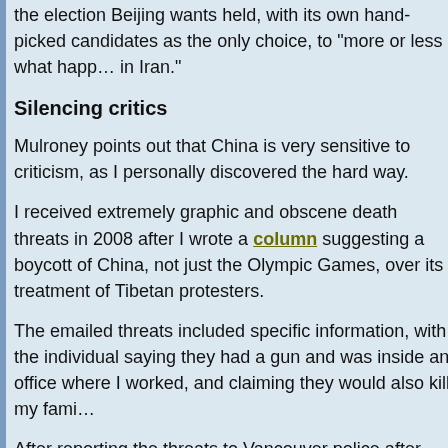the election Beijing wants held, with its own hand-picked candidates as the only choice, to "more or less what happens in Iran."
Silencing critics
Mulroney points out that China is very sensitive to criticism, as I personally discovered the hard way.
I received extremely graphic and obscene death threats in 2008 after I wrote a column suggesting a boycott of China, not just the Olympic Games, over its treatment of Tibetan protesters.
The emailed threats included specific information, with the individual saying they had a gun and was inside an office where I worked, and claiming they would also kill my family.
After reporting the threats to Vancouver police after the emailer promised even more violent attacks, two officers arrived at my home within an hour.
Police soon found that the emails came from inside China and said the Chinese government does not cooperate with foreign internet investigations. Case closed.